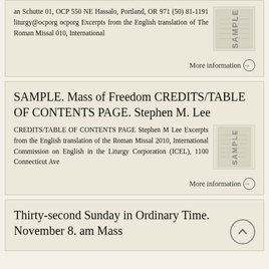an Schutte 01, OCP 550 NE Hassalo, Portland, OR 971 (50) 81-1191 liturgy@ocporg ocporg Excerpts from the English translation of The Roman Missal 010, International
More information →
SAMPLE. Mass of Freedom CREDITS/TABLE OF CONTENTS PAGE. Stephen M. Lee
CREDITS/TABLE OF CONTENTS PAGE Stephen M Lee Excerpts from the English translation of the Roman Missal 2010, International Commission on English in the Liturgy Corporation (ICEL), 1100 Connecticut Ave
More information →
Thirty-second Sunday in Ordinary Time. November 8. am Mass